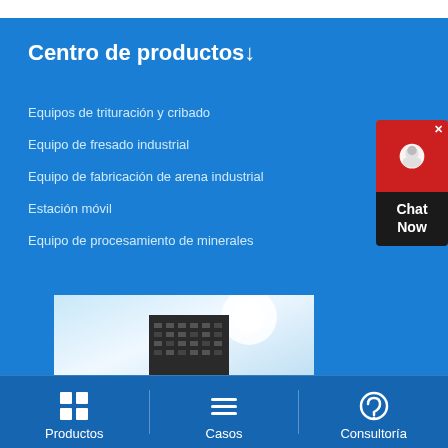Centro de productos↓
Equipos de trituración y cribado
Equipo de fresado industrial
Equipo de fabricación de arena industrial
Estación móvil
Equipo de procesamiento de minerales
[Figure (photo): Building / skyscraper against bright sky]
Productos | Casos | Consultoría